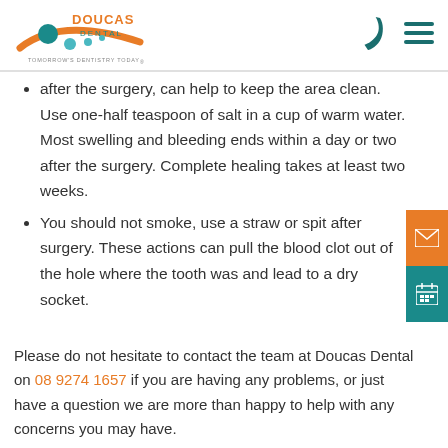[Figure (logo): Doucas Dental logo with orange swoosh, teal circles, and text reading DOUCAS DENTAL, Tomorrow's Dentistry Today]
after the surgery, can help to keep the area clean. Use one-half teaspoon of salt in a cup of warm water. Most swelling and bleeding ends within a day or two after the surgery. Complete healing takes at least two weeks.
You should not smoke, use a straw or spit after surgery. These actions can pull the blood clot out of the hole where the tooth was and lead to a dry socket.
Please do not hesitate to contact the team at Doucas Dental on 08 9274 1657 if you are having any problems, or just have a question we are more than happy to help with any concerns you may have.